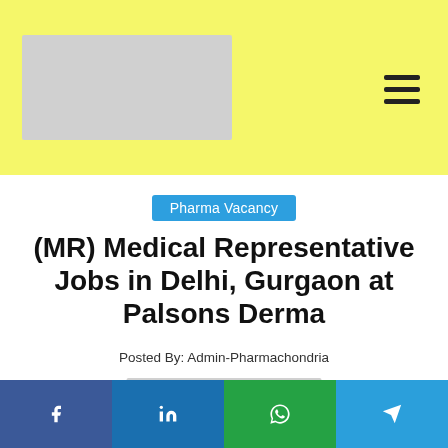Pharmachondria — logo and navigation header
Pharma Vacancy
(MR) Medical Representative Jobs in Delhi, Gurgaon at Palsons Derma
Posted By: Admin-Pharmachondria
[Figure (other): Partial image at bottom of content area]
Social share bar: Facebook, LinkedIn, WhatsApp, Telegram